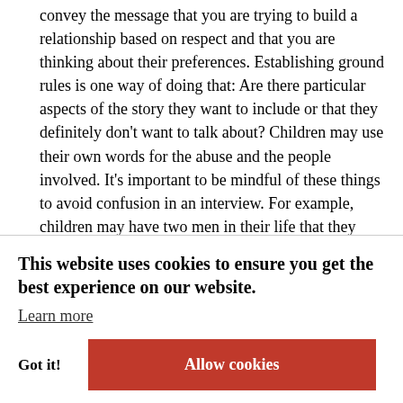convey the message that you are trying to build a relationship based on respect and that you are thinking about their preferences. Establishing ground rules is one way of doing that: Are there particular aspects of the story they want to include or that they definitely don't want to talk about? Children may use their own words for the abuse and the people involved. It's important to be mindful of these things to avoid confusion in an interview. For example, children may have two men in their life that they refer to as "Dad."
I also tell a child that I might not get everything right and that they should feel free to correct me if they think I might have misunderstood something. Similarly as a journalist, you have to show that you're doing your best to get it right. Children may like ...ely depending ...ght jump to ...s active and ...ack the gist of
This website uses cookies to ensure you get the best experience on our website. Learn more
Got it!
Allow cookies
o suffered
abuse as children?